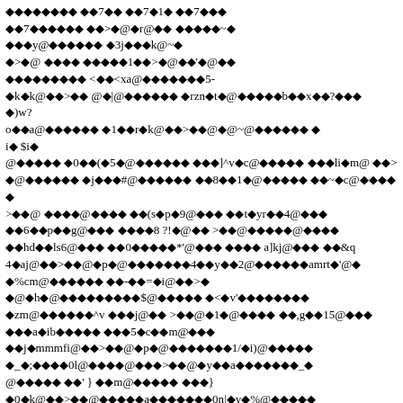Corrupted/encoded text content with diamond replacement characters and mixed ASCII symbols — unreadable encoded document page